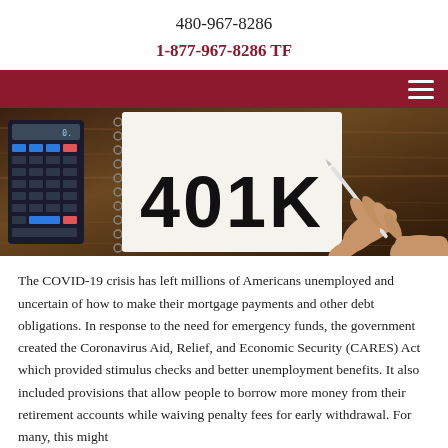480-967-8286
1-877-967-8286 TF
[Figure (photo): A hand writing '401K' on a spiral notebook, placed on a wooden surface with a calculator nearby.]
The COVID-19 crisis has left millions of Americans unemployed and uncertain of how to make their mortgage payments and other debt obligations. In response to the need for emergency funds, the government created the Coronavirus Aid, Relief, and Economic Security (CARES) Act which provided stimulus checks and better unemployment benefits. It also included provisions that allow people to borrow more money from their retirement accounts while waiving penalty fees for early withdrawal. For many, this might